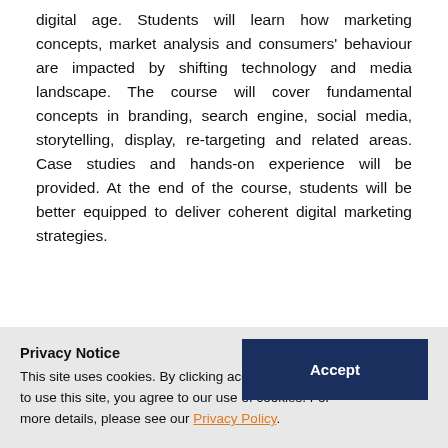digital age. Students will learn how marketing concepts, market analysis and consumers' behaviour are impacted by shifting technology and media landscape. The course will cover fundamental concepts in branding, search engine, social media, storytelling, display, retargeting and related areas. Case studies and hands-on experience will be provided. At the end of the course, students will be better equipped to deliver coherent digital marketing strategies.
Privacy Notice
This site uses cookies. By clicking accept or continuing to use this site, you agree to our use of cookies. For more details, please see our Privacy Policy.